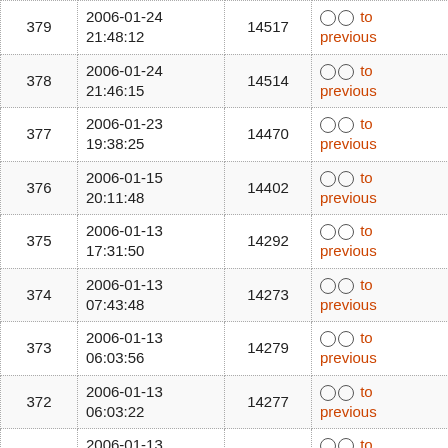| # | Date | ID | Action | Host |
| --- | --- | --- | --- | --- |
| 379 | 2006-01-24 21:48:12 | 14517 | ○ ○ to previous | 213-156-5 |
| 378 | 2006-01-24 21:46:15 | 14514 | ○ ○ to previous | 213-156-5 |
| 377 | 2006-01-23 19:38:25 | 14470 | ○ ○ to previous | mail |
| 376 | 2006-01-15 20:11:48 | 14402 | ○ ○ to previous | 15 |
| 375 | 2006-01-13 17:31:50 | 14292 | ○ ○ to previous | adsl-210-9 |
| 374 | 2006-01-13 07:43:48 | 14273 | ○ ○ to previous | 81-178-23 |
| 373 | 2006-01-13 06:03:56 | 14279 | ○ ○ to previous | adsl-210-9 |
| 372 | 2006-01-13 06:03:22 | 14277 | ○ ○ to previous | adsl-210-9 |
| 371 | 2006-01-13 06:02:21 | 14275 | ○ ○ to previous | adsl-210-9 |
| 370 | 2006-01-11 13:14:16 | 14220 | ○ ○ to previous | mailgate |
| 369 | 2006-01-11 ... | 14229 | ○ ○ to | 123 |